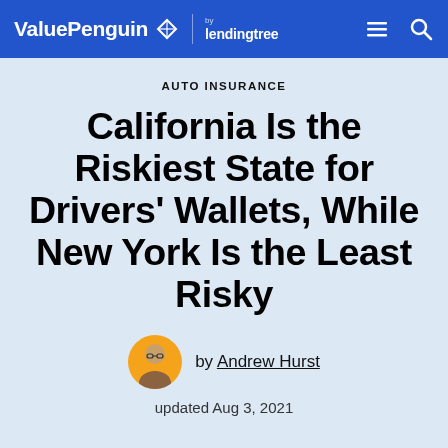ValuePenguin by lendingtree
AUTO INSURANCE
California Is the Riskiest State for Drivers' Wallets, While New York Is the Least Risky
by Andrew Hurst
updated Aug 3, 2021